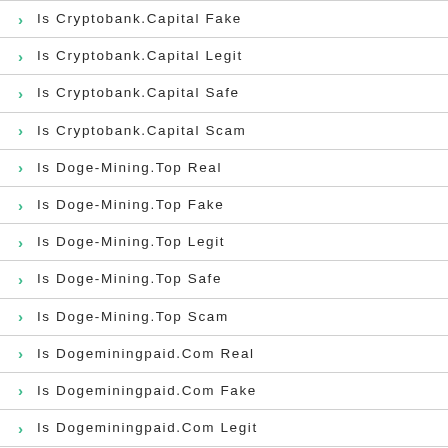Is Cryptobank.Capital Fake
Is Cryptobank.Capital Legit
Is Cryptobank.Capital Safe
Is Cryptobank.Capital Scam
Is Doge-Mining.Top Real
Is Doge-Mining.Top Fake
Is Doge-Mining.Top Legit
Is Doge-Mining.Top Safe
Is Doge-Mining.Top Scam
Is Dogeminingpaid.Com Real
Is Dogeminingpaid.Com Fake
Is Dogeminingpaid.Com Legit
Is Dogeminingpaid.Com Safe